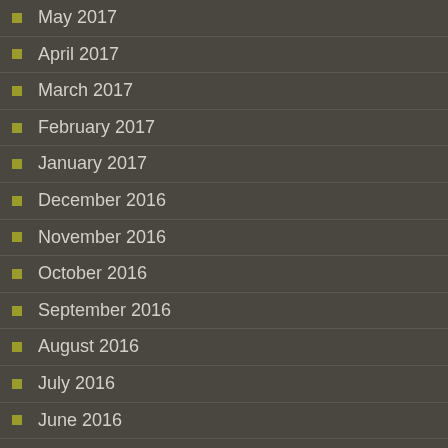May 2017
April 2017
March 2017
February 2017
January 2017
December 2016
November 2016
October 2016
September 2016
August 2016
July 2016
June 2016
May 2016
April 2016
March 2016